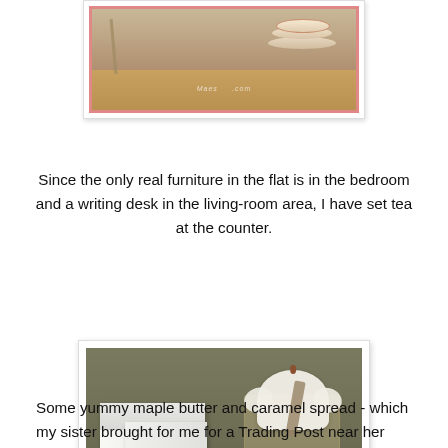[Figure (photo): Photo of tableware/tea setting on a wooden counter, with decorative plates and a pink border, watermark text visible]
Since the only real furniture in the flat is in the bedroom and a writing desk in the living-room area, I have set tea at the counter.
[Figure (photo): Photo of a gift jar with layered contents, tied with a gingham ribbon and white bow with beads, next to a white paper bag, watermark text visible]
Some yummy maple butter and caramel spread - which my sister brought for me for a Trading Post near her cottage on